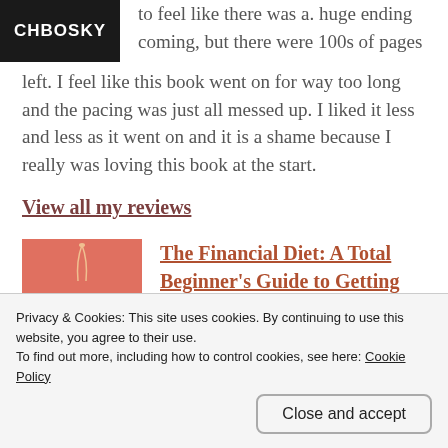[Figure (illustration): Black book cover with 'CHBOSKY' text in white]
to feel like there was a. huge ending coming, but there were 100s of pages left. I feel like this book went on for way too long and the pacing was just all messed up. I liked it less and less as it went on and it is a shame because I really was loving this book at the start.
View all my reviews
[Figure (illustration): Salmon/coral colored book cover for 'The Financial Diet' with a price tag illustration and dark label at bottom]
The Financial Diet: A Total Beginner's Guide to Getting Good with Money by Chelsea Fagan
Privacy & Cookies: This site uses cookies. By continuing to use this website, you agree to their use.
To find out more, including how to control cookies, see here: Cookie Policy